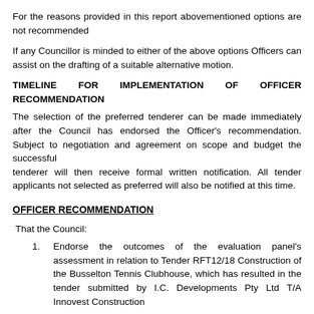For the reasons provided in this report abovementioned options are not recommended
If any Councillor is minded to either of the above options Officers can assist on the drafting of a suitable alternative motion.
TIMELINE FOR IMPLEMENTATION OF OFFICER RECOMMENDATION
The selection of the preferred tenderer can be made immediately after the Council has endorsed the Officer's recommendation. Subject to negotiation and agreement on scope and budget the successful tenderer will then receive formal written notification. All tender applicants not selected as preferred will also be notified at this time.
OFFICER RECOMMENDATION
That the Council:
Endorse the outcomes of the evaluation panel's assessment in relation to Tender RFT12/18 Construction of the Busselton Tennis Clubhouse, which has resulted in the tender submitted by I.C. Developments Pty Ltd T/A Innovest Construction